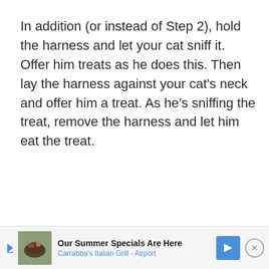In addition (or instead of Step 2), hold the harness and let your cat sniff it. Offer him treats as he does this. Then lay the harness against your cat's neck and offer him a treat. As he's sniffing the treat, remove the harness and let him eat the treat.
[Figure (other): Advertisement banner: 'Our Summer Specials Are Here' for Carrabba's Italian Grill - Airport, with food image, navigation arrow icon, and close button.]